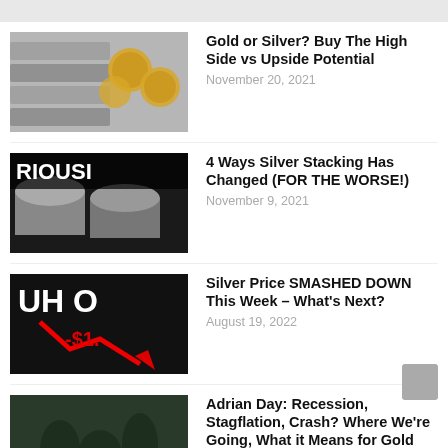[Figure (screenshot): Top gray navigation bar]
[Figure (photo): Gold and silver coins thumbnail]
Gold or Silver? Buy The High Side vs Upside Potential
November 20, 2021
[Figure (photo): Silver stacking thumbnail with RIOUSLY text]
4 Ways Silver Stacking Has Changed (FOR THE WORSE!)
November 9, 2021
[Figure (photo): UH O red arrow down chart thumbnail with -$1. text]
Silver Price SMASHED DOWN This Week – What's Next?
August 19, 2022
[Figure (photo): Adrian Day interview thumbnail with text RECESSION STAGF... AN DAY: CRASH WHERE WE'RE WHAT IT MEANS FOR]
Adrian Day: Recession, Stagflation, Crash? Where We're Going, What it Means for Gold
June 23, 2022
[Figure (photo): EW WORLD ORD thumbnail - dark blue background]
Ron Paul: US economy's 'inevitable collapse' will